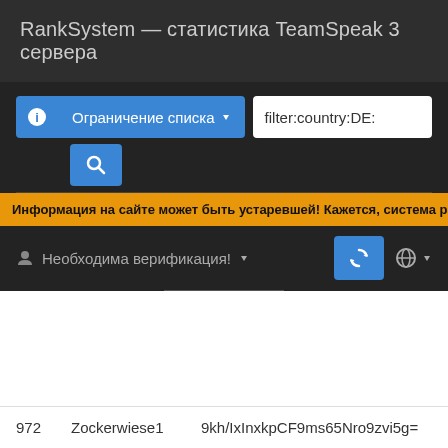RankSystem — статистика TeamSpeak 3 сервера
filter:country:DE:
Ограничение списка
Информация на сайте может быть устаревшей! Кажется, система рангов больше
Необходима верификация!
| # | Name | Hash |
| --- | --- | --- |
| 972 | Zockerwiese1 | 9kh/IxInxkpCF9ms65Nro9zvi5g= |